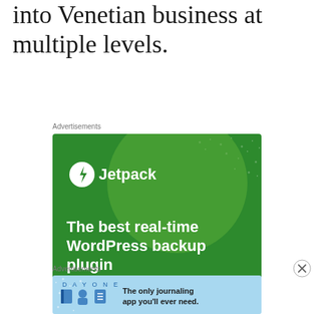into Venetian business at multiple levels.
Advertisements
[Figure (infographic): Jetpack advertisement banner with green background showing a large circular shape, Jetpack logo (white circle with lightning bolt), tagline 'The best real-time WordPress backup plugin', and a white CTA button reading 'Back up your site']
Advertisements
[Figure (infographic): Day One journaling app advertisement with light blue background showing 'DAY ONE' text, three illustrated icons (book, person, notebook), and text 'The only journaling app you'll ever need.']